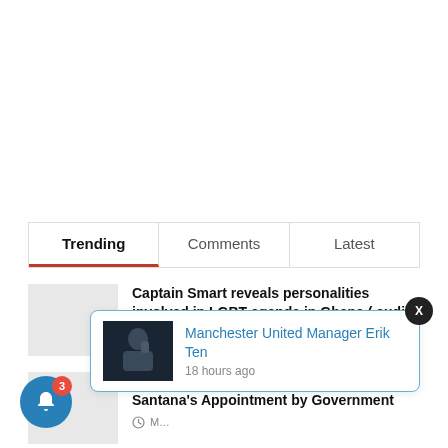[Figure (screenshot): Navigation tab bar with three tabs: Trending (active, underlined in red), Comments, Latest]
Captain Smart reveals personalities involved in LGBT agenda in Ghana ( audio)
FEBRUARY 22, 2021
Foot soldiers of N.P.P fumes over Abeiku Santana's Appointment by Government
M...
KA... over COVID fund use
[Figure (screenshot): Notification popup with photo of Manchester United Manager Erik Ten, showing text 'Manchester United Manager Erik Ten' and '18 hours ago']